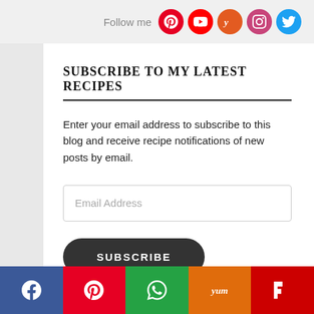Follow me
SUBSCRIBE TO MY LATEST RECIPES
Enter your email address to subscribe to this blog and receive recipe notifications of new posts by email.
Email Address
SUBSCRIBE
Social share bar: Facebook, Pinterest, WhatsApp, Yummly, Flipboard